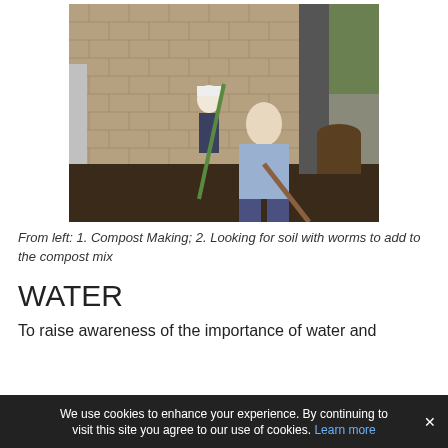[Figure (photo): Two girls using rakes and tools to work in a garden bed with dark soil, against a brick wall. One wears a white hat and pink boots, the other is in a light blue jacket.]
From left: 1. Compost Making; 2. Looking for soil with worms to add to the compost mix
WATER
To raise awareness of the importance of water and
We use cookies to enhance your experience. By continuing to visit this site you agree to our use of cookies. Learn more